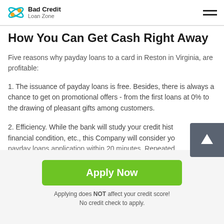Bad Credit Loan Zone
How You Can Get Cash Right Away
Five reasons why payday loans to a card in Reston in Virginia, are profitable:
1. The issuance of payday loans is free. Besides, there is always a chance to get on promotional offers - from the first loans at 0% to the drawing of pleasant gifts among customers.
2. Efficiency. While the bank will study your credit history, financial condition, etc., this Company will consider your payday loans application within 20 minutes. Repeated
[Figure (other): Scroll-up button with upward arrow icon]
Apply Now
Applying does NOT affect your credit score!
No credit check to apply.